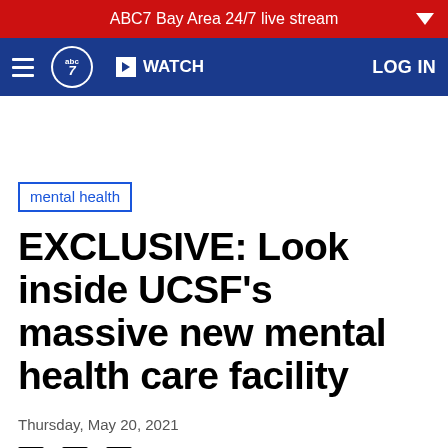ABC7 Bay Area 24/7 live stream
[Figure (logo): ABC7 navigation bar with hamburger menu, ABC7 circular logo, WATCH button, and LOG IN link on dark blue background]
mental health
EXCLUSIVE: Look inside UCSF's massive new mental health care facility
Thursday, May 20, 2021
[Figure (other): Social share icons: Facebook, Twitter, Email]